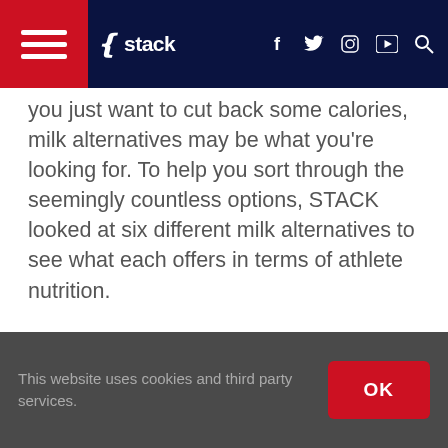STACK navigation bar with hamburger menu, logo, social icons (f, twitter, instagram, youtube) and search
you just want to cut back some calories, milk alternatives may be what you're looking for. To help you sort through the seemingly countless options, STACK looked at six different milk alternatives to see what each offers in terms of athlete nutrition.
This website uses cookies and third party services.